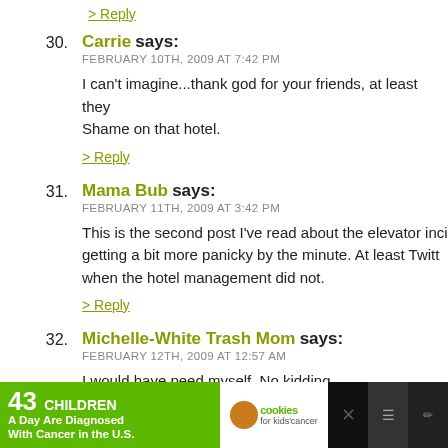> Reply
30. Carrie says:
FEBRUARY 10TH, 2009 AT 7:42 PM
I can't imagine...thank god for your friends, at least they Shame on that hotel.
> Reply
31. Mama Bub says:
FEBRUARY 11TH, 2009 AT 3:42 PM
This is the second post I've read about the elevator inci getting a bit more panicky by the minute. At least Twitt when the hotel management did not.
> Reply
32. Michelle-White Trash Mom says:
FEBRUARY 12TH, 2009 AT 12:57 AM
I would have peed myself. No kidding.
[Figure (infographic): Advertisement banner: '43 CHILDREN A Day Are Diagnosed With Cancer in the U.S.' with cookies for kids cancer logo and 'Let's Get Baking' section]